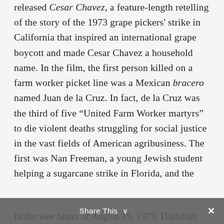released Cesar Chavez, a feature-length retelling of the story of the 1973 grape pickers' strike in California that inspired an international grape boycott and made Cesar Chavez a household name. In the film, the first person killed on a farm worker picket line was a Mexican bracero named Juan de la Cruz. In fact, de la Cruz was the third of five “United Farm Worker martyrs” to die violent deaths struggling for social justice in the vast fields of American agribusiness. The first was Nan Freeman, a young Jewish student helping a sugarcane strike in Florida, and the second was a Yemeni migrant called Nagi Daifallah.
In the wee hours of August 15, 1973, Daifallah